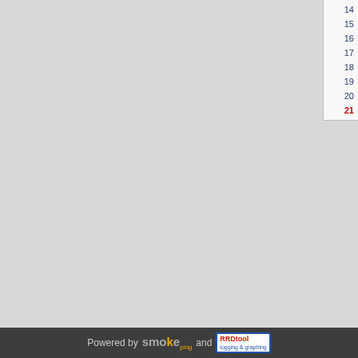[Figure (screenshot): Partial view of a web-based network monitoring tool (smokeping/RRDtool). The left portion shows a gray content area. The right edge shows two code/line-number panels. The top panel lists line numbers 14 through 21, with 21 highlighted in red. The bottom panel lists line numbers 3 through 17.]
Powered by smokeping and RRDtool